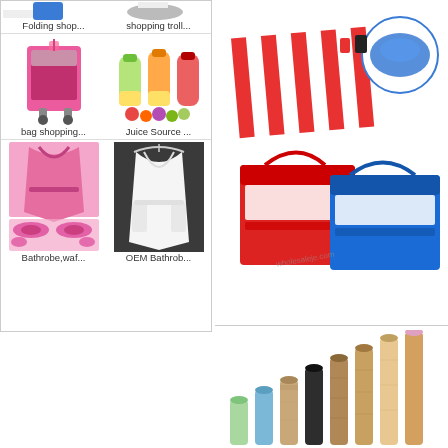[Figure (photo): Grid of product images: Folding shopping bag/trolley (top row, partially visible), pink rolling shopping bag cart, juice source water bottles with fruits, pink bathrobe with slippers, white OEM bathrobe on hanger]
[Figure (photo): Beach picnic mat (red/white striped), blue inflatable pillow, red and blue cooler tote bags with watermark]
[Figure (photo): Multiple wooden dowel rods of varying heights/colors arranged in ascending order]